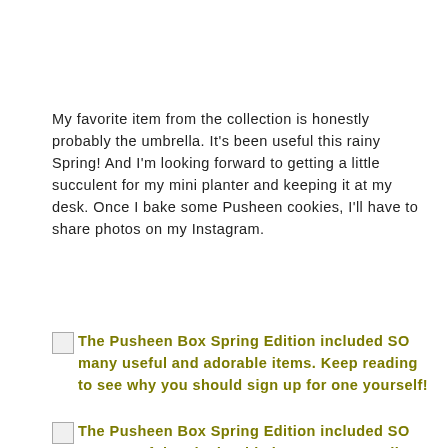My favorite item from the collection is honestly probably the umbrella. It's been useful this rainy Spring! And I'm looking forward to getting a little succulent for my mini planter and keeping it at my desk. Once I bake some Pusheen cookies, I'll have to share photos on my Instagram.
The Pusheen Box Spring Edition included SO many useful and adorable items. Keep reading to see why you should sign up for one yourself!
The Pusheen Box Spring Edition included SO many useful and adorable items. Keep reading to